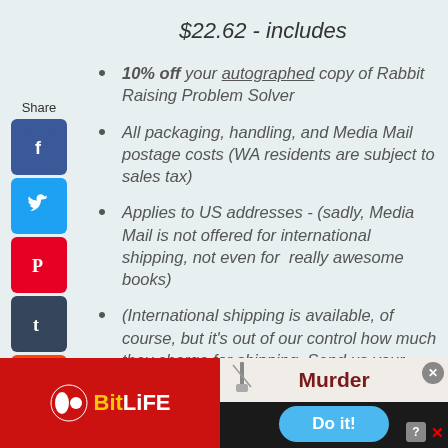$22.62 - includes
10% off your autographed copy of Rabbit Raising Problem Solver
All packaging, handling, and Media Mail postage costs (WA residents are subject to sales tax)
Applies to US addresses - (sadly, Media Mail is not offered for international shipping, not even for  really awesome books)
(International shipping is available, of course, but it's out of our control how much they charge for shipping. Send us your country,
[Figure (screenshot): Social media share sidebar with Facebook, Twitter, Pinterest, Tumblr, Reddit, WhatsApp, and Messenger icons, plus a Share label and a back arrow button]
[Figure (screenshot): BitLife advertisement banner on the left in red with yellow and white logo text, and a Murder game advertisement on the right with a dark background, 'Do it!' blue button, and close/X controls]